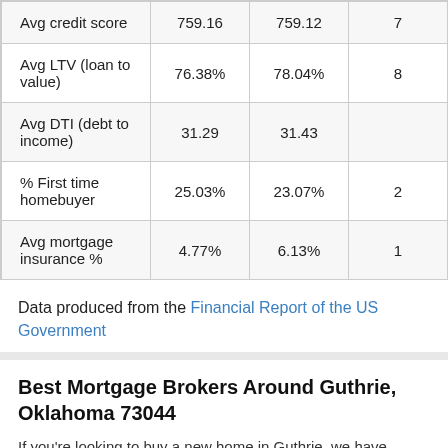| Avg credit score | 759.16 | 759.12 | 7 |
| Avg LTV (loan to value) | 76.38% | 78.04% | 8 |
| Avg DTI (debt to income) | 31.29 | 31.43 |  |
| % First time homebuyer | 25.03% | 23.07% | 2 |
| Avg mortgage insurance % | 4.77% | 6.13% | 1 |
Data produced from the Financial Report of the US Government
Best Mortgage Brokers Around Guthrie, Oklahoma 73044
If you're looking to buy a new home in Guthrie, we have compiled a list of the leading mortgage brokers around Guthrie, Oklahoma 73044 to help you with